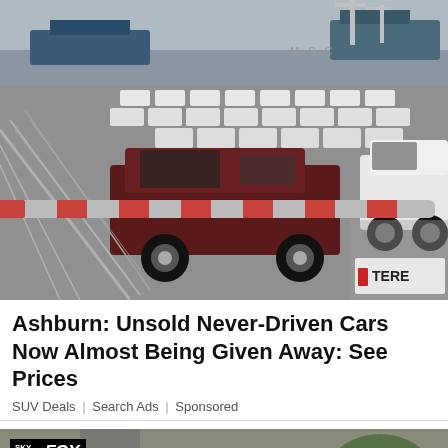[Figure (photo): Aerial view of a large parking lot filled with rows of new unsold SUVs at a shipping port, with cargo ships visible in the background and chain-link fence in the foreground. MSC cargo ship visible. TERE brand label visible at bottom right.]
Ashburn: Unsold Never-Driven Cars Now Almost Being Given Away: See Prices
SUV Deals | Search Ads | Sponsored
[Figure (screenshot): Sky Fox Live news broadcast screenshot showing aerial footage of a road/area with a person visible in an inset picture-in-picture box at bottom left.]